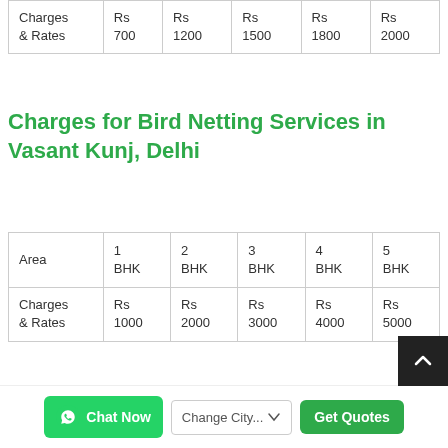|  | 1 BHK | 2 BHK | 3 BHK | 4 BHK | 5 BHK |
| --- | --- | --- | --- | --- | --- |
| Charges & Rates | Rs 700 | Rs 1200 | Rs 1500 | Rs 1800 | Rs 2000 |
Charges for Bird Netting Services in Vasant Kunj, Delhi
| Area | 1 BHK | 2 BHK | 3 BHK | 4 BHK | 5 BHK |
| --- | --- | --- | --- | --- | --- |
| Charges & Rates | Rs 1000 | Rs 2000 | Rs 3000 | Rs 4000 | Rs 5000 |
Termite Control Charges and Rates in Vasant...